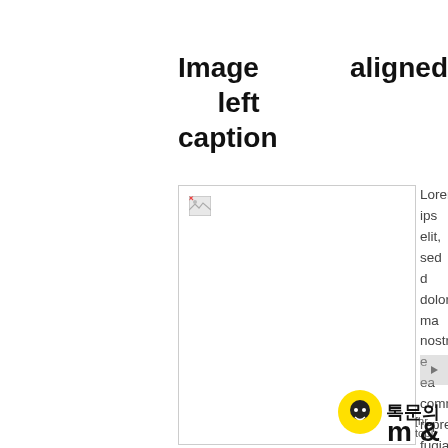Image aligned left caption
[Figure (illustration): Placeholder image box with broken image icon in upper left corner]
Lorem ips elit, sed dolore ma nostrud e ea comm reprehend fugiat null non proid anim id es
[hr top]
톡문의
m &